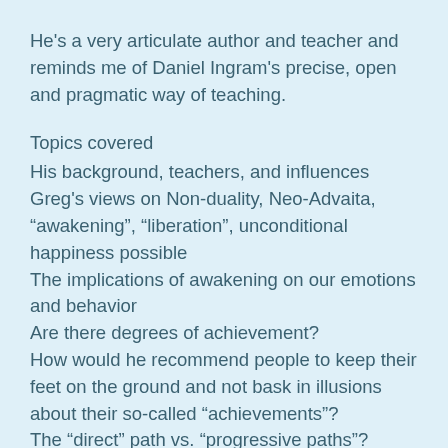He's a very articulate author and teacher and reminds me of Daniel Ingram's precise, open and pragmatic way of teaching.
Topics covered
His background, teachers, and influences
Greg's views on Non-duality, Neo-Advaita, “awakening”, “liberation”, unconditional happiness possible
The implications of awakening on our emotions and behavior
Are there degrees of achievement?
How would he recommend people to keep their feet on the ground and not bask in illusions about their so-called “achievements”?
The “direct” path vs. “progressive paths”?
Is practice useless?